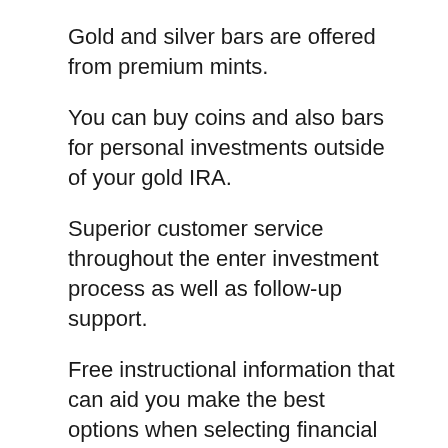Gold and silver bars are offered from premium mints.
You can buy coins and also bars for personal investments outside of your gold IRA.
Superior customer service throughout the enter investment process as well as follow-up support.
Free instructional information that can aid you make the best options when selecting financial investments for your retirement account.
The extremely first thing that you will discover when you talk to a rep of Goldco is